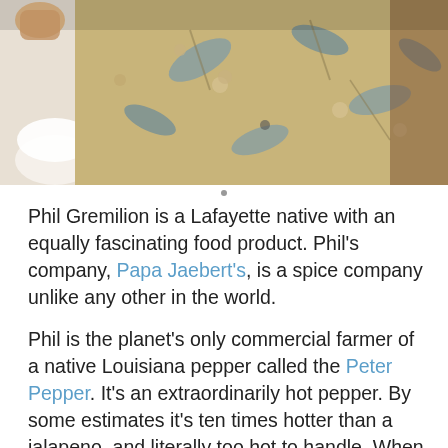[Figure (photo): Photo of a person wearing a floral Hawaiian shirt (beige/tan with blue flowers), upper torso and hands visible, holding what appears to be a white cup or mug. Background is warm brown tones.]
Phil Gremilion is a Lafayette native with an equally fascinating food product. Phil's company, Papa Jaebert's, is a spice company unlike any other in the world.
Phil is the planet's only commercial farmer of a native Louisiana pepper called the Peter Pepper. It's an extraordinarily hot pepper. By some estimates it's ten times hotter than a jalapeno, and literally too hot to handle. When Phil harvests and processes the peppers he has to wear gloves and a gas mask.